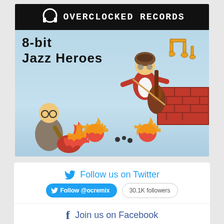[Figure (illustration): Album cover art for '8-bit Jazz Heroes' by Overclocked Records. Black banner at top with headphone logo and 'OVERCLOCKED RECORDS' text. Illustrated cartoon characters: a man playing guitar with a flaming guitar and fireball enemies from a video game, and another character flying with a cello. Video game style brick platform and musical notes in orange.]
Follow us on Twitter
Follow @ocremix  30.1K followers
Join us on Facebook